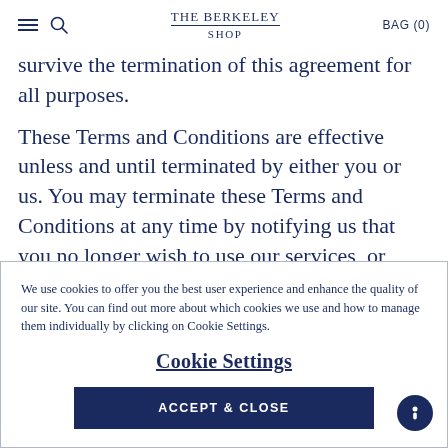THE BERKELEY SHOP | BAG (0)
survive the termination of this agreement for all purposes.
These Terms and Conditions are effective unless and until terminated by either you or us. You may terminate these Terms and Conditions at any time by notifying us that you no longer wish to use our services, or when you cease using our website.
We use cookies to offer you the best user experience and enhance the quality of our site. You can find out more about which cookies we use and how to manage them individually by clicking on Cookie Settings.
Cookie Settings
ACCEPT & CLOSE